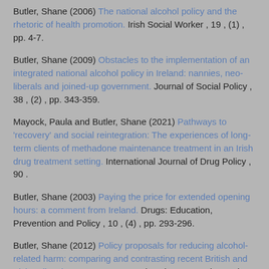Butler, Shane (2006) The national alcohol policy and the rhetoric of health promotion. Irish Social Worker , 19 , (1) , pp. 4-7.
Butler, Shane (2009) Obstacles to the implementation of an integrated national alcohol policy in Ireland: nannies, neo-liberals and joined-up government. Journal of Social Policy , 38 , (2) , pp. 343-359.
Mayock, Paula and Butler, Shane (2021) Pathways to 'recovery' and social reintegration: The experiences of long-term clients of methadone maintenance treatment in an Irish drug treatment setting. International Journal of Drug Policy , 90 .
Butler, Shane (2003) Paying the price for extended opening hours: a comment from Ireland. Drugs: Education, Prevention and Policy , 10 , (4) , pp. 293-296.
Butler, Shane (2012) Policy proposals for reducing alcohol-related harm: comparing and contrasting recent British and Irish policy documents. Drugs: Education Prevention and Policy , 19 , pp. 365-367.